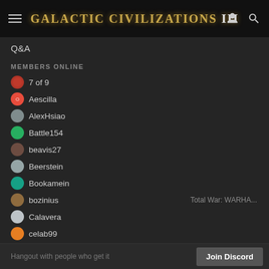Galactic Civilizations III
Q&A
MEMBERS ONLINE
7 of 9
Aescilla
AlexHsiao
Battle154
beavis27
Beerstein
Bookamein
bozinius
Calavera
celab99
Chibiabos
ClearanceClarence
Clynlyn
Hangout with people who get it    Join Discord